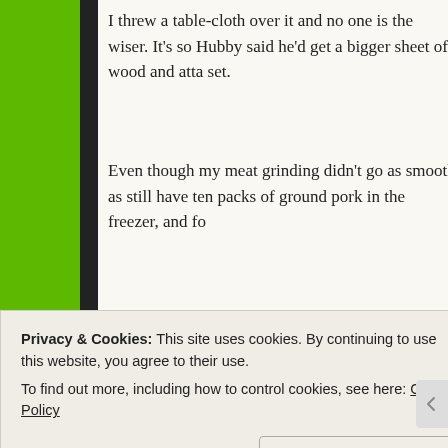I threw a table-cloth over it and no one is the wiser. It's so Hubby said he'd get a bigger sheet of wood and atta set.
Even though my meat grinding didn't go as smooth as still have ten packs of ground pork in the freezer, and fo
Share this:
Loading...
Privacy & Cookies: This site uses cookies. By continuing to use this website, you agree to their use.
To find out more, including how to control cookies, see here: Cookie Policy
Close and accept